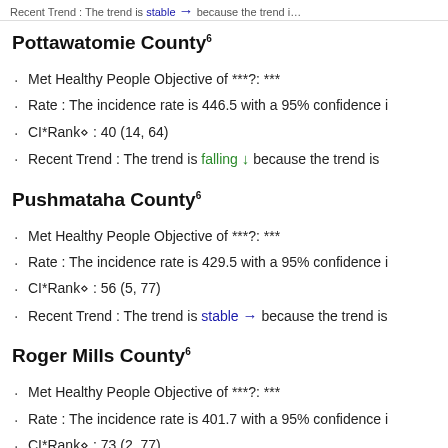Recent Trend: The trend is stable → because the trend is
Pottawatomie County⁶
Met Healthy People Objective of ***?: ***
Rate : The incidence rate is 446.5 with a 95% confidence i
CI*Rank⋄ : 40 (14, 64)
Recent Trend : The trend is falling ↓ because the trend is
Pushmataha County⁶
Met Healthy People Objective of ***?: ***
Rate : The incidence rate is 429.5 with a 95% confidence i
CI*Rank⋄ : 56 (5, 77)
Recent Trend : The trend is stable → because the trend is
Roger Mills County⁶
Met Healthy People Objective of ***?: ***
Rate : The incidence rate is 401.7 with a 95% confidence i
CI*Rank⋄ : 73 (2, 77)